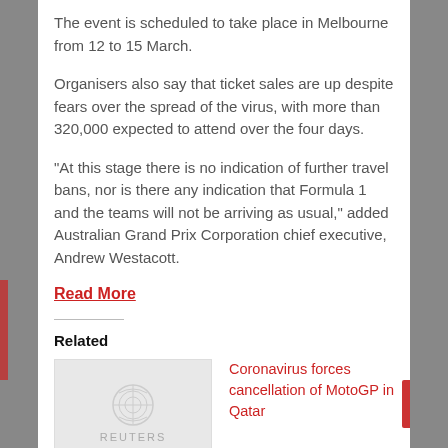The event is scheduled to take place in Melbourne from 12 to 15 March.
Organisers also say that ticket sales are up despite fears over the spread of the virus, with more than 320,000 expected to attend over the four days.
“At this stage there is no indication of further travel bans, nor is there any indication that Formula 1 and the teams will not be arriving as usual,” added Australian Grand Prix Corporation chief executive, Andrew Westacott.
Read More
Related
[Figure (photo): Reuters placeholder image thumbnail for Motorcycling: MotoGP article]
Motorcycling: MotoGP
[Figure (photo): Broken image placeholder for Coronavirus forces cancellation of MotoGP in Qatar]
Coronavirus forces cancellation of MotoGP in Qatar